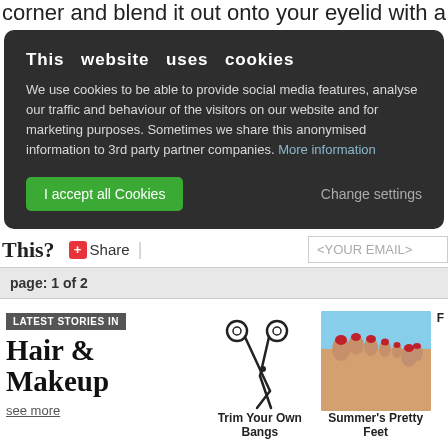corner and blend it out onto your eyelid with a shadow...
[Figure (screenshot): Cookie consent overlay with dark background, title 'This website uses cookies', body text about cookies and social media features, 'I accept all Cookies' green button, and 'Change settings' text button]
This?
Share
<YOUR EMAIL>
page: 1 of 2
LATEST STORIES IN
Hair & Makeup
see more
[Figure (illustration): Scissors illustration for 'Trim Your Own Bangs' article]
Trim Your Own Bangs
[Figure (photo): Photo of feet with red toenail polish against blue sky background for Summer's Pretty Feet article]
Summer's Pretty Feet